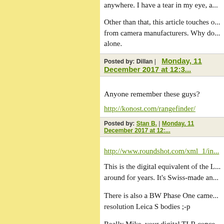anywhere. I have a tear in my eye, a...
Other than that, this article touches o... from camera manufacturers. Why do... alone.
Posted by: Dillan | Monday, 11 December 2017 at 12:3...
Anyone remember these guys?
http://konost.com/rangefinder/
Posted by: Stan B. | Monday, 11 December 2017 at 12:...
http://www.roundshot.com/xml_1/in...
This is the digital equivalent of the L... around for years. It's Swiss-made an...
There is also a BW Phase One came... resolution Leica S bodies ;-p
Really Mike, your digital TLR conce...